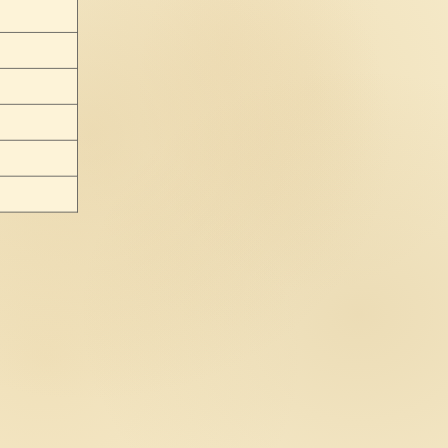| ID | Qty | Language 1 | Language 2 |  |
| --- | --- | --- | --- | --- |
| 02808-386 | 1 / Add | Dagaare | Moore |  |
| 00382-027 | 1 / Add | Tagalog | Cebuano |  |
| 00300-013 | 1 / Add | English | Susu |  |
| 00249-006 | 1 / Add | Portuguese, Brazilian | Makua |  |
| 01956-277 | 1 / Add | Nateni | Hausa |  |
| 02262-306 | 1 / Add | English | Hausa |  |